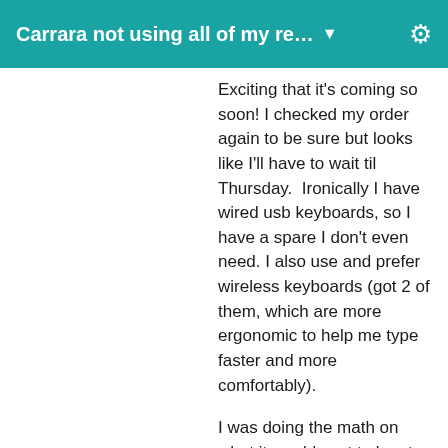Carrara not using all of my re… ▼
Exciting that it's coming so soon! I checked my order again to be sure but looks like I'll have to wait til Thursday.  Ironically I have wired usb keyboards, so I have a spare I don't even need. I also use and prefer wireless keyboards (got 2 of them, which are more ergonomic to help me type faster and more comfortably).
I was doing the math on what it would cost to buy two 6 core Xeons and swap them out with the 4 core Xeons that are coming with the Z600...